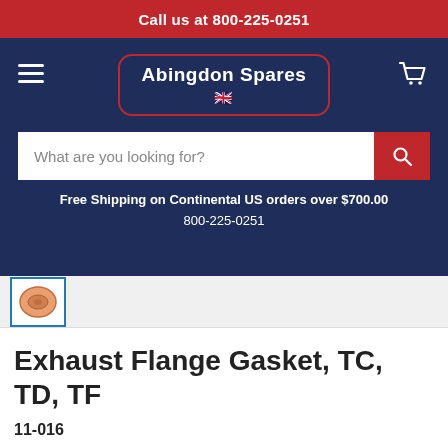Call us at 800-225-0251
[Figure (logo): Abingdon Spares logo with red border, white text, and UK flag]
What are you looking for?
Free Shipping on Continental US orders over $700.00
800-225-0251
[Figure (photo): Small thumbnail image of exhaust flange gasket product]
Exhaust Flange Gasket, TC, TD, TF
11-016
$8.95